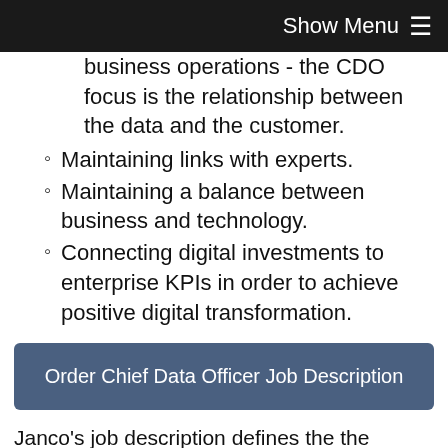Show Menu
business operations - the CDO focus is the relationship between the data and the customer.
Maintaining links with experts.
Maintaining a balance between business and technology.
Connecting digital investments to enterprise KPIs in order to achieve positive digital transformation.
Order Chief Data Officer Job Description
Janco's job description defines the the position purpose, problem and challenges, the essential functions, principle accountabilities, contacts, and position requirements in five fact filled pages. The position description comes in MS WORD format and